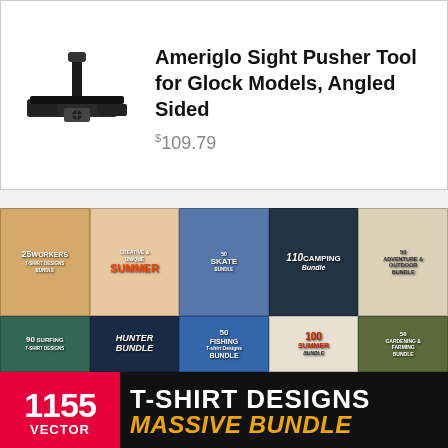[Figure (photo): Product listing card showing Ameriglo Sight Pusher Tool for Glock Models with tool image on left]
Ameriglo Sight Pusher Tool for Glock Models, Angled Sided
$109.79
[Figure (photo): T-shirt design bundle advertisement showing 1155 Vector T-Shirt Designs Massive Bundle with grid of various t-shirt bundle thumbnails including Workers, Summer, Skate, Camping, Surfing, Hunter, Fishing, Summer, Gardening bundles and more]